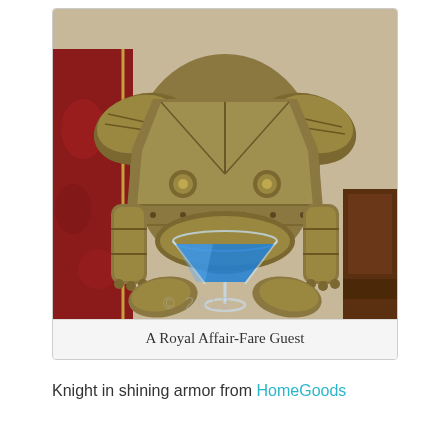[Figure (photo): A decorative knight in shining (golden/bronze) armor statue holding a martini glass with blue liquid, standing in front of a red ornate chair or tapestry background.]
A Royal Affair-Fare Guest
Knight in shining armor from HomeGoods